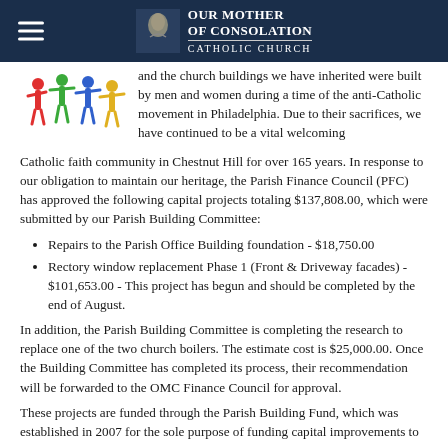OUR MOTHER OF CONSOLATION CATHOLIC CHURCH
[Figure (illustration): Colorful figures of people (red, green, blue, yellow) with arms raised]
and the church buildings we have inherited were built by men and women during a time of the anti-Catholic movement in Philadelphia. Due to their sacrifices, we have continued to be a vital welcoming Catholic faith community in Chestnut Hill for over 165 years. In response to our obligation to maintain our heritage, the Parish Finance Council (PFC) has approved the following capital projects totaling $137,808.00, which were submitted by our Parish Building Committee:
Repairs to the Parish Office Building foundation - $18,750.00
Rectory window replacement Phase 1 (Front & Driveway facades) - $101,653.00 - This project has begun and should be completed by the end of August.
In addition, the Parish Building Committee is completing the research to replace one of the two church boilers. The estimate cost is $25,000.00. Once the Building Committee has completed its process, their recommendation will be forwarded to the OMC Finance Council for approval.
These projects are funded through the Parish Building Fund, which was established in 2007 for the sole purpose of funding capital improvements to